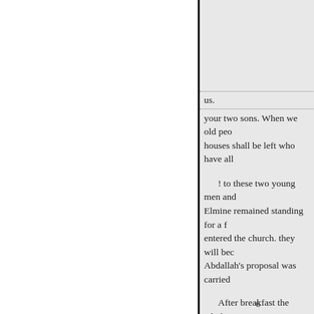us.
your two sons. When we old peo houses shall be left who have all
! to these two young men and Elmine remained standing for a f entered the church. they will bec Abdallah's proposal was carried
After breakfast the whole part place, this,' said Lucius; only the much more magnificent.' fully. A remained behind.
once.
'I have two requests to make
6